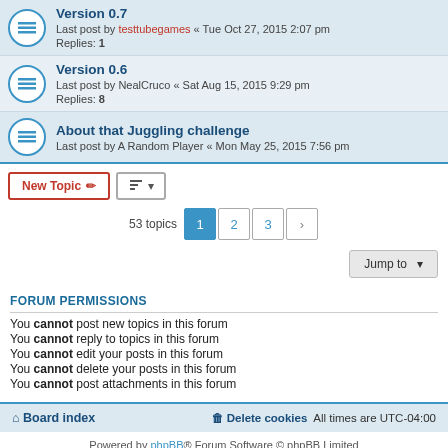Version 0.7 — Last post by testtubegames « Tue Oct 27, 2015 2:07 pm — Replies: 1
Version 0.6 — Last post by NealCruco « Sat Aug 15, 2015 9:29 pm — Replies: 8
About that Juggling challenge — Last post by A Random Player « Mon May 25, 2015 7:56 pm
New Topic | Sort | 53 topics | 1 2 3 > | Jump to
FORUM PERMISSIONS
You cannot post new topics in this forum
You cannot reply to topics in this forum
You cannot edit your posts in this forum
You cannot delete your posts in this forum
You cannot post attachments in this forum
Board index | Delete cookies | All times are UTC-04:00
Powered by phpBB® Forum Software © phpBB Limited
Privacy | Terms